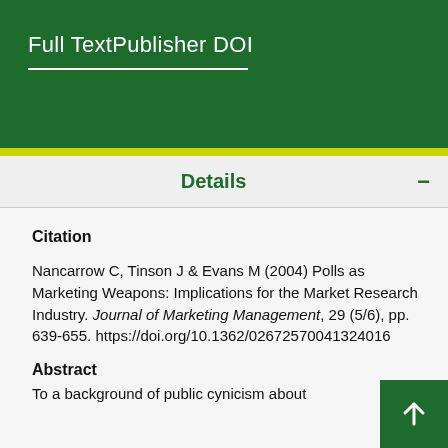Full TextPublisher DOI
Details
Citation
Nancarrow C, Tinson J & Evans M (2004) Polls as Marketing Weapons: Implications for the Market Research Industry. Journal of Marketing Management, 29 (5/6), pp. 639-655. https://doi.org/10.1362/02672570041324016
Abstract
To a background of public cynicism about